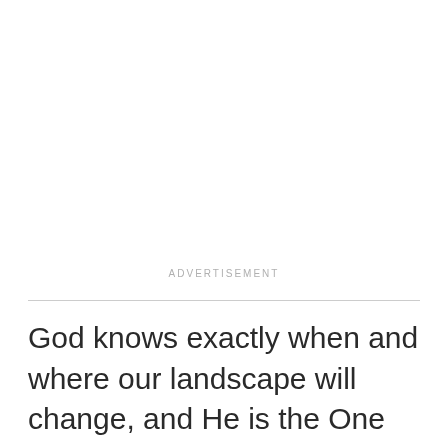ADVERTISEMENT
God knows exactly when and where our landscape will change, and He is the One who will be with us every step of the journey.